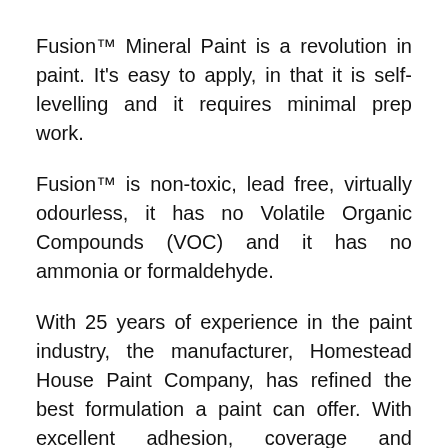Fusion™ Mineral Paint is a revolution in paint. It's easy to apply, in that it is self-levelling and it requires minimal prep work.
Fusion™ is non-toxic, lead free, virtually odourless, it has no Volatile Organic Compounds (VOC) and it has no ammonia or formaldehyde.
With 25 years of experience in the paint industry, the manufacturer, Homestead House Paint Company, has refined the best formulation a paint can offer. With excellent adhesion, coverage and durability, at a very competitive price point, you can't go wrong!
It's manufactured from the ground up using the best available ingredients and the…